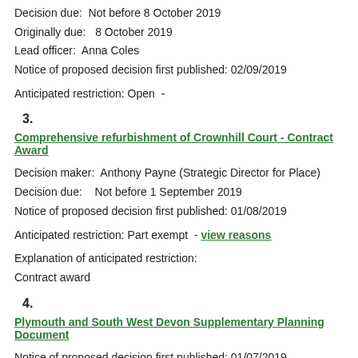Decision due:  Not before 8 October 2019
Originally due:  8 October 2019
Lead officer:  Anna Coles
Notice of proposed decision first published: 02/09/2019
Anticipated restriction: Open  -
3.
Comprehensive refurbishment of Crownhill Court - Contract Award
Decision maker:  Anthony Payne (Strategic Director for Place)
Decision due:   Not before 1 September 2019
Notice of proposed decision first published: 01/08/2019
Anticipated restriction: Part exempt  - view reasons
Explanation of anticipated restriction:
Contract award
4.
Plymouth and South West Devon Supplementary Planning Document
Notice of proposed decision first published: 01/07/2019